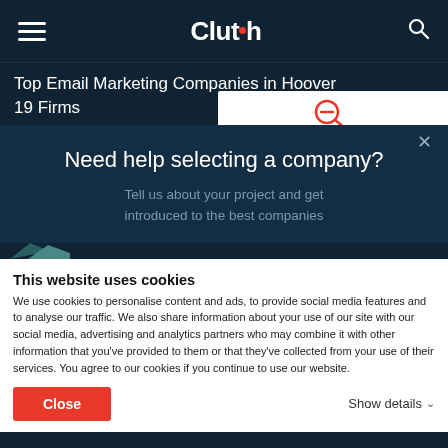Clutch
Top Email Marketing Companies in Hoover
19 Firms
[Figure (screenshot): Modal dialog with close button (×). Title: Need help selecting a company? Subtitle: Tell us about your project and get introduced to the best companies]
This website uses cookies
We use cookies to personalise content and ads, to provide social media features and to analyse our traffic. We also share information about your use of our site with our social media, advertising and analytics partners who may combine it with other information that you've provided to them or that they've collected from your use of their services. You agree to our cookies if you continue to use our website.
Close
Show details